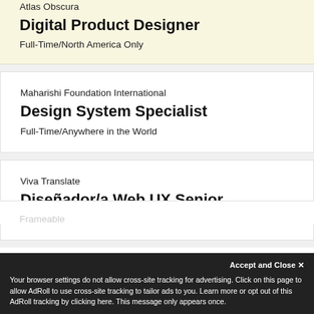Atlas Obscura
Digital Product Designer
Full-Time/North America Only
Maharishi Foundation International
Design System Specialist
Full-Time/Anywhere in the World
Viva Translate
Diseñador/a Web UX Senior
Full-Time/Anywhere in the World
Frameable
Accept and Close ✕
Your browser settings do not allow cross-site tracking for advertising. Click on this page to allow AdRoll to use cross-site tracking to tailor ads to you. Learn more or opt out of this AdRoll tracking by clicking here. This message only appears once.